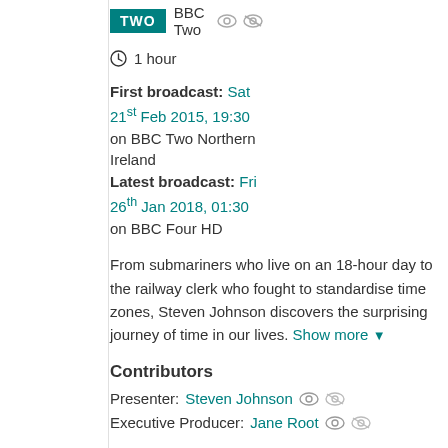[Figure (logo): BBC Two badge logo with teal background and white text 'TWO', followed by 'BBC Two' text and eye/strikethrough-eye icons]
1 hour
First broadcast: Sat 21st Feb 2015, 19:30 on BBC Two Northern Ireland
Latest broadcast: Fri 26th Jan 2018, 01:30 on BBC Four HD
From submariners who live on an 18-hour day to the railway clerk who fought to standardise time zones, Steven Johnson discovers the surprising journey of time in our lives. Show more ▼
Contributors
Presenter: Steven Johnson
Executive Producer: Jane Root